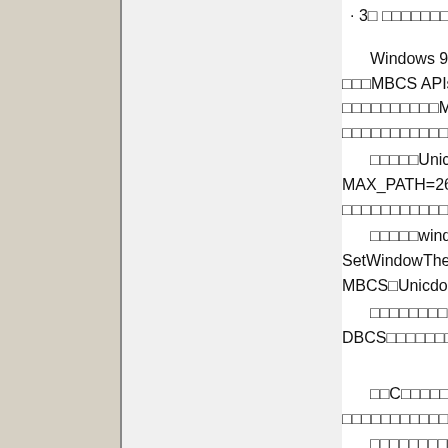· 3□ □□□□□□□□XP□□□□□□Ur
Windows 9x □□□□□ API □□□ □□□MBCS APIs□□□□□□□NT□□□□□□U □□□□□□□□□□MBCS API□□□□□□□□□ □□□□□□□□□□□□□□□□□□□□□□□□□□□□□
□□□□□Unicode API□NT□□□□ MAX_PATH=260□□□□Unicode A □□□□□□□□□□□□□□□□□
□□□□□windows 9x□□□□□□□□□□ SetWindowTheme() API□□Unic MBCS□Unicdoe□□□□□□□
□□□□□□□□Unicode□build□□□□ DBCS□□□□□□□□□□Unicode□build□
□□C□□□□□□□□□□□□□□□□□□□□□ □□□□□□□□□□□□□□□□□□□□□□□□□□□□□
□□□□□□□□□□Win32 API, MFC